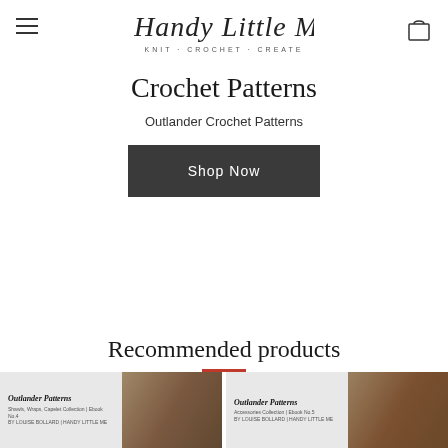Handy Little Me — KNIT · CROCHET · CREATE
Crochet Patterns
Outlander Crochet Patterns
Shop Now
Recommended products
[Figure (other): Two product images at the bottom showing Outlander Patterns book covers with tartan fabric images]
Outlander Patterns — Shawls, Wraps, Capelet Collection | Ebook No.4
Outlander Patterns — Accessories Collection | Ebook No.5